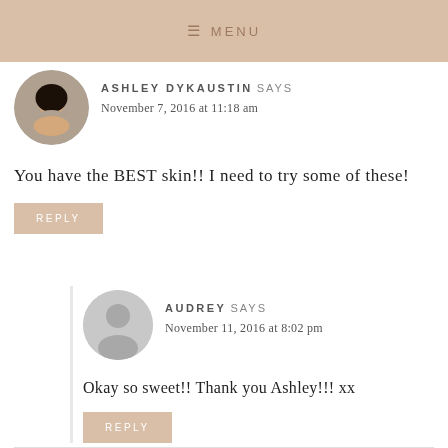≡ MENU
ASHLEY DYKAUSTIN SAYS
November 7, 2016 at 11:18 am
You have the BEST skin!! I need to try some of these!
REPLY
AUDREY SAYS
November 11, 2016 at 8:02 pm
Okay so sweet!! Thank you Ashley!!! xx
REPLY